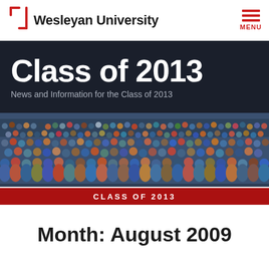Wesleyan University
Class of 2013
News and Information for the Class of 2013
[Figure (photo): Large group photo of the Wesleyan University Class of 2013 with 'CLASS OF 2013' banner overlay]
Month: August 2009